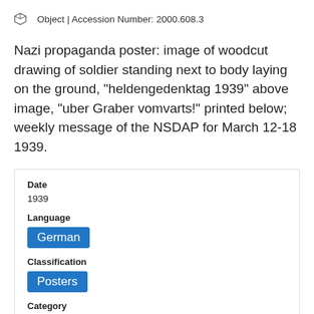Object | Accession Number: 2000.608.3
Nazi propaganda poster: image of woodcut drawing of soldier standing next to body laying on the ground, "heldengedenktag 1939" above image, "uber Graber vomvarts!" printed below; weekly message of the NSDAP for March 12-18 1939.
| Date |  |
| 1939 |  |
| Language |  |
| German |  |
| Classification |  |
| Posters |  |
| Category |  |